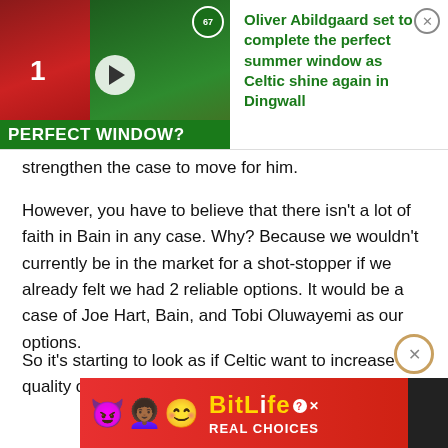[Figure (screenshot): Video thumbnail showing a footballer in red jersey numbered 1 on left, Celtic players celebrating on right, with 'PERFECT WINDOW?' green banner at bottom. Beside it, a green-text headline reads: 'Oliver Abildgaard set to complete the perfect summer window as Celtic shine again in Dingwall' with close (X) button.]
strengthen the case to move for him.
However, you have to believe that there isn't a lot of faith in Bain in any case. Why? Because we wouldn't currently be in the market for a shot-stopper if we already felt we had 2 reliable options. It would be a case of Joe Hart, Bain, and Tobi Oluwayemi as our options.
So it's starting to look as if Celtic want to increase the quality of their back-up option to Hart. Whether th...
[Figure (screenshot): BitLife 'REAL CHOICES' advertisement banner with colorful emojis on red background]